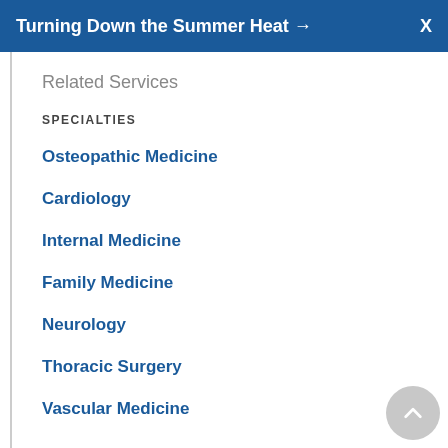Turning Down the Summer Heat → X
Related Services
SPECIALTIES
Osteopathic Medicine
Cardiology
Internal Medicine
Family Medicine
Neurology
Thoracic Surgery
Vascular Medicine